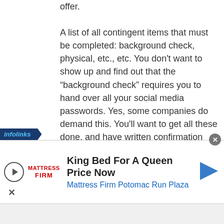offer. A list of all contingent items that must be completed: background check, physical, etc., etc. You don't want to show up and find out that the “background check” requires you to hand over all your social media passwords. Yes, some companies do demand this. You'll want to get all these done, and have written confirmation from the company that everything is acceptable, *before* you accept the offer and
[Figure (other): Infolinks advertisement bar and Mattress Firm banner ad reading 'King Bed For A Queen Price Now - Mattress Firm Potomac Run Plaza']